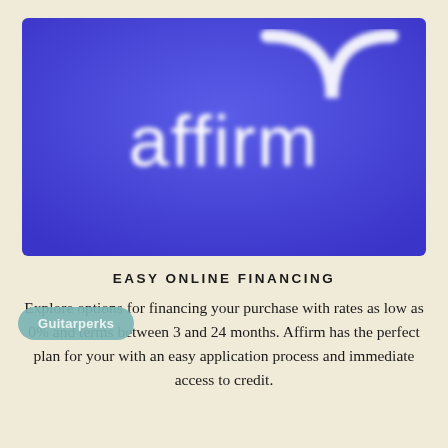[Figure (logo): Affirm logo on a blue/purple gradient background with white text 'affirm' and a white arch/rainbow symbol above it]
EASY ONLINE FINANCING
Explore options for financing your purchase with rates as low as 0% and terms between 3 and 24 months. Affirm has the perfect plan for your with an easy application process and immediate access to credit.